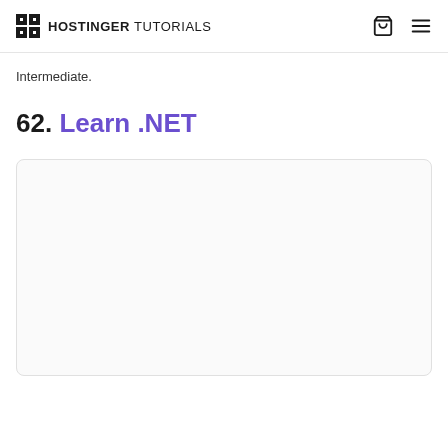HOSTINGER TUTORIALS
Intermediate.
62. Learn .NET
[Figure (screenshot): A card or embedded content box with light gray background and rounded border, content not visible]